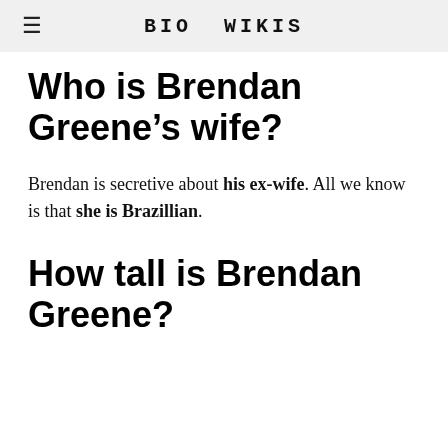BIO WIKIS
Who is Brendan Greene's wife?
Brendan is secretive about his ex-wife. All we know is that she is Brazillian.
How tall is Brendan Greene?